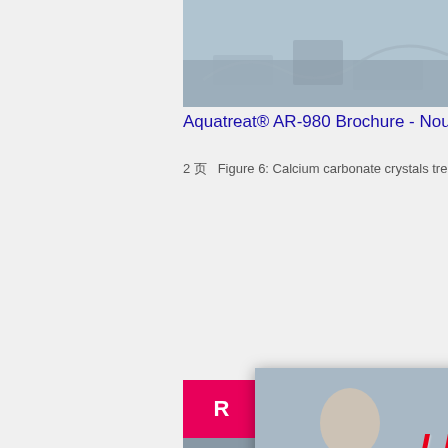[Figure (photo): Industrial or mining site aerial/landscape photo, grayish-blue tones]
Aquatreat® AR-980 Brochure - Nouryon
2 页  Figure 6: Calcium carbonate crystals treate…
[Figure (photo): Live Chat popup overlay with workers in hard hats, Chat now / Chat later buttons]
[Figure (photo): Industrial commercial grade calcium carbonate processing facility photo]
[Figure (infographic): Right orange sidebar with mining machinery images, Enjoy 3% discount, Click to Chat, Enquiry, limingjlmofen@sina.com]
Industrial Commercial Grade calcium carbonate ...